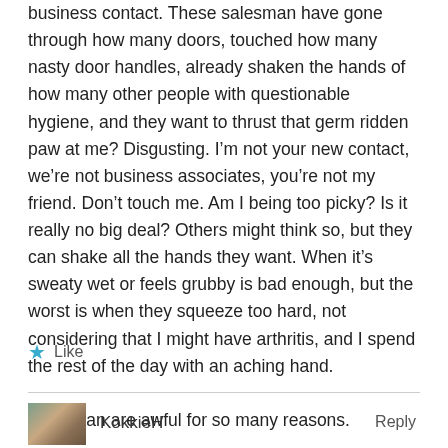business contact. These salesman have gone through how many doors, touched how many nasty door handles, already shaken the hands of how many other people with questionable hygiene, and they want to thrust that germ ridden paw at me? Disgusting. I'm not your new contact, we're not business associates, you're not my friend. Don't touch me. Am I being too picky? Is it really no big deal? Others might think so, but they can shake all the hands they want. When it's sweaty wet or feels grubby is bad enough, but the worst is when they squeeze too hard, not considering that I might have arthritis, and I spend the rest of the day with an aching hand.

Salesman are awful for so many reasons.
Like
KokkieH
Reply